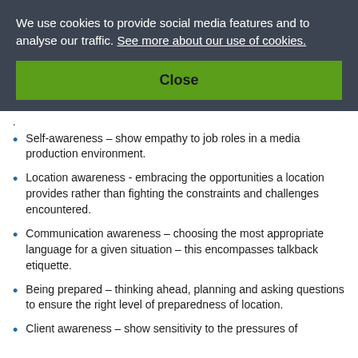We use cookies to provide social media features and to analyse our traffic. See more about our use of cookies.
Close
Self-awareness – show empathy to job roles in a media production environment.
Location awareness - embracing the opportunities a location provides rather than fighting the constraints and challenges encountered.
Communication awareness – choosing the most appropriate language for a given situation – this encompasses talkback etiquette.
Being prepared – thinking ahead, planning and asking questions to ensure the right level of preparedness of location.
Client awareness – show sensitivity to the pressures of